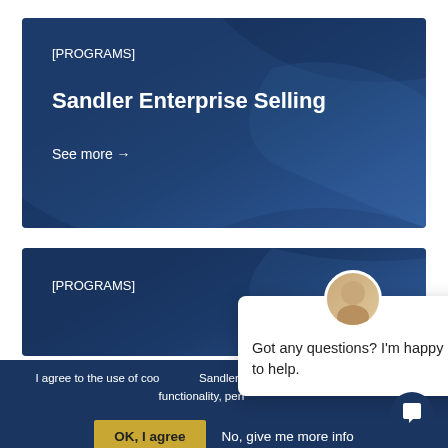[Figure (screenshot): Card with dark blue background showing [PROGRAMS] tag and Sandler Enterprise Selling title with See more arrow link]
[PROGRAMS]
Sandler Enterprise Selling
See more →
[Figure (screenshot): Second card with dark blue background showing [PROGRAMS] tag]
[PROGRAMS]
I agree to the use of cookies on Sandler.com, which uses to improve functionality, performance...
OK, I agree
No, give me more info
See our Cookie Policy for more information. If your country is not listed, please refer to the Privacy Policy.
Got any questions? I'm happy to help.